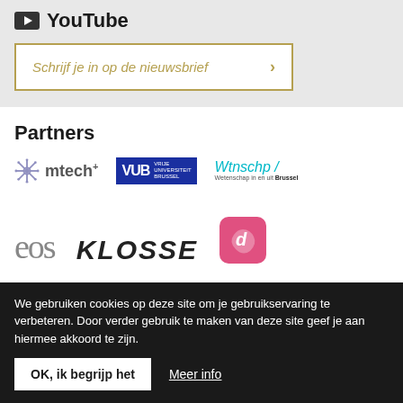[Figure (logo): YouTube logo with icon and text]
Schrijf je in op de nieuwsbrief >
Partners
[Figure (logo): mtech+ logo with snowflake icon]
[Figure (logo): VUB - Vrije Universiteit Brussel logo]
[Figure (logo): Wtnschp / Wetenschap in en uit Brussel logo]
[Figure (logo): eos logo in gray serif font]
[Figure (logo): KLOSSE logo in bold italic]
[Figure (logo): Pink rounded square logo]
We gebruiken cookies op deze site om je gebruikservaring te verbeteren. Door verder gebruik te maken van deze site geef je aan hiermee akkoord te zijn.
OK, ik begrijp het
Meer info